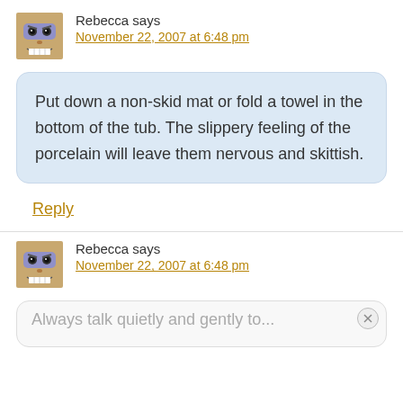[Figure (illustration): Cartoon avatar of Rebecca - a purple masked character with a grin]
Rebecca says
November 22, 2007 at 6:48 pm
Put down a non-skid mat or fold a towel in the bottom of the tub. The slippery feeling of the porcelain will leave them nervous and skittish.
Reply
[Figure (illustration): Cartoon avatar of Rebecca - a purple masked character with a grin]
Rebecca says
November 22, 2007 at 6:48 pm
Always talk quietly and gently to...